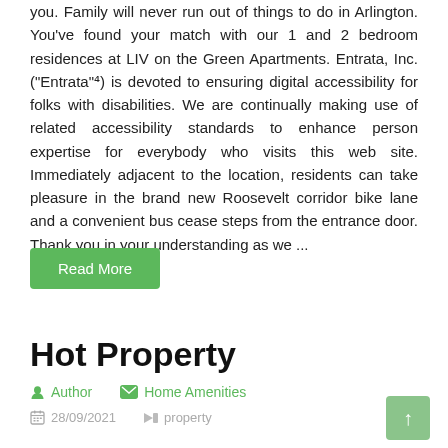you. Family will never run out of things to do in Arlington. You've found your match with our 1 and 2 bedroom residences at LIV on the Green Apartments. Entrata, Inc. ("Entrata"⁴) is devoted to ensuring digital accessibility for folks with disabilities. We are continually making use of related accessibility standards to enhance person expertise for everybody who visits this web site. Immediately adjacent to the location, residents can take pleasure in the brand new Roosevelt corridor bike lane and a convenient bus cease steps from the entrance door. Thank you in your understanding as we ...
Read More
Hot Property
Author   Home Amenities
28/09/2021   property